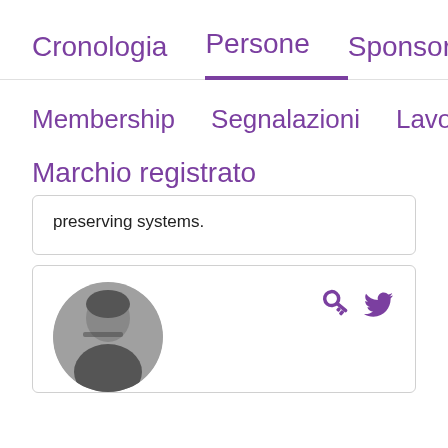Cronologia   Persone   Sponsor
Membership   Segnalazioni   Lavori
Marchio registrato
preserving systems.
[Figure (photo): Circular black and white profile photo of a person holding glasses, with key and Twitter bird icons to the right]